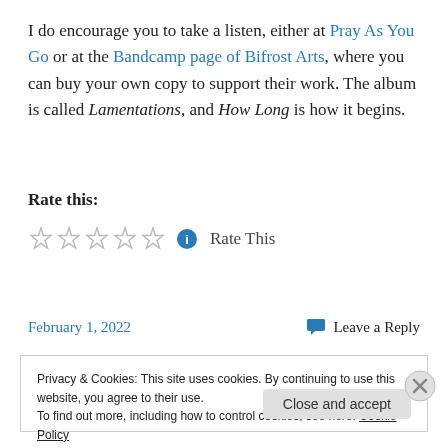I do encourage you to take a listen, either at Pray As You Go or at the Bandcamp page of Bifrost Arts, where you can buy your own copy to support their work. The album is called Lamentations, and How Long is how it begins.
Rate this:
☆ ☆ ☆ ☆ ☆ ⓘ Rate This
February 1, 2022    💬 Leave a Reply
Privacy & Cookies: This site uses cookies. By continuing to use this website, you agree to their use. To find out more, including how to control cookies, see here: Cookie Policy